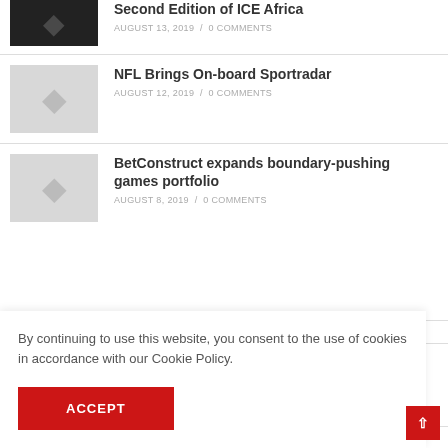[Figure (photo): Partial view of thumbnail image at top, dark background with light subject]
Second Edition of ICE Africa
AUGUST 13, 2019 / 0 COMMENTS
[Figure (photo): Thumbnail placeholder, light gray background]
NFL Brings On-board Sportradar
AUGUST 12, 2019 / 0 COMMENTS
[Figure (photo): Thumbnail placeholder, light gray background]
BetConstruct expands boundary-pushing games portfolio
AUGUST 8, 2019 / 0 COMMENTS
By continuing to use this website, you consent to the use of cookies in accordance with our Cookie Policy.
ACCEPT
ll Friday
bolete?